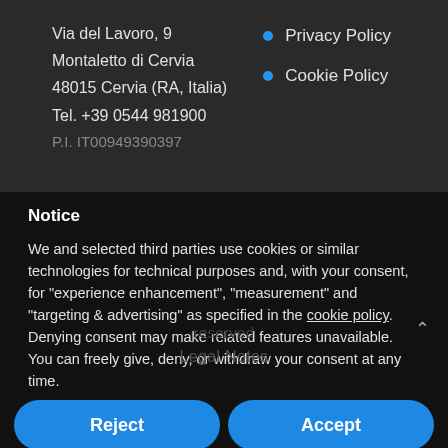Via del Lavoro, 9
Montaletto di Cervia
48015 Cervia (RA, Italia)
Tel. +39 0544 981900
P.I. IT00949390397
Privacy Policy
Cookie Policy
Notice
We and selected third parties use cookies or similar technologies for technical purposes and, with your consent, for "experience enhancement", "measurement" and "targeting & advertising" as specified in the cookie policy. Denying consent may make related features unavailable.
You can freely give, deny, or withdraw your consent at any time.
Reject
Accept
Learn more and customise